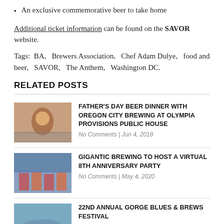An exclusive commemorative beer to take home
Additional ticket information can be found on the SAVOR website.
Tags: BA, Brewers Association, Chef Adam Dulye, food and beer, SAVOR, The Anthem, Washington DC.
RELATED POSTS
FATHER'S DAY BEER DINNER WITH OREGON CITY BREWING AT OLYMPIA PROVISIONS PUBLIC HOUSE
No Comments | Jun 4, 2018
GIGANTIC BREWING TO HOST A VIRTUAL 8TH ANNIVERSARY PARTY
No Comments | May 4, 2020
22ND ANNUAL GORGE BLUES & BREWS FESTIVAL
No Comments | Jun 16, 2015